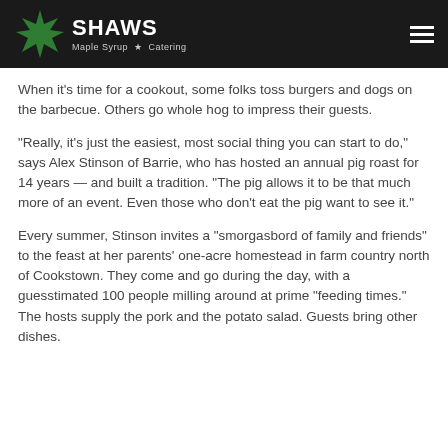Shaws Maple Syrup · Catering
When it's time for a cookout, some folks toss burgers and dogs on the barbecue. Others go whole hog to impress their guests.
"Really, it's just the easiest, most social thing you can start to do," says Alex Stinson of Barrie, who has hosted an annual pig roast for 14 years — and built a tradition. "The pig allows it to be that much more of an event. Even those who don't eat the pig want to see it."
Every summer, Stinson invites a “smorgasbord of family and friends” to the feast at her parents' one-acre homestead in farm country north of Cookstown. They come and go during the day, with a guesstimated 100 people milling around at prime “feeding times.” The hosts supply the pork and the potato salad. Guests bring other dishes.